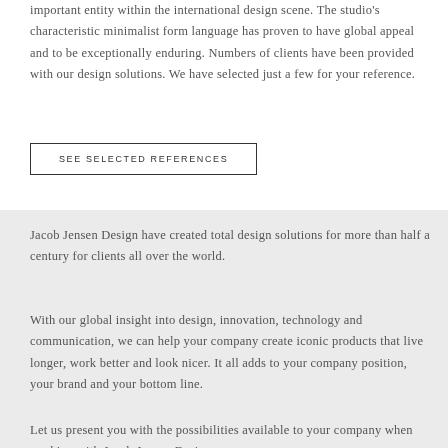important entity within the international design scene. The studio's characteristic minimalist form language has proven to have global appeal and to be exceptionally enduring. Numbers of clients have been provided with our design solutions. We have selected just a few for your reference.
SEE SELECTED REFERENCES
Jacob Jensen Design have created total design solutions for more than half a century for clients all over the world.
With our global insight into design, innovation, technology and communication, we can help your company create iconic products that live longer, work better and look nicer. It all adds to your company position, your brand and your bottom line.
Let us present you with the possibilities available to your company when working with Jacob Jensen Design.